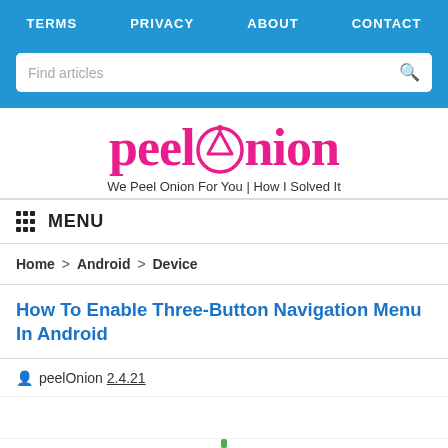TERMS  PRIVACY  ABOUT  CONTACT
Find articles
[Figure (logo): PeelOnion logo in pink with stylized navigation arrow replacing the letter 'o', with tagline: We Peel Onion For You | How I Solved It]
MENU
Home > Android > Device
How To Enable Three-Button Navigation Menu In Android
peelOnion 2.4.21